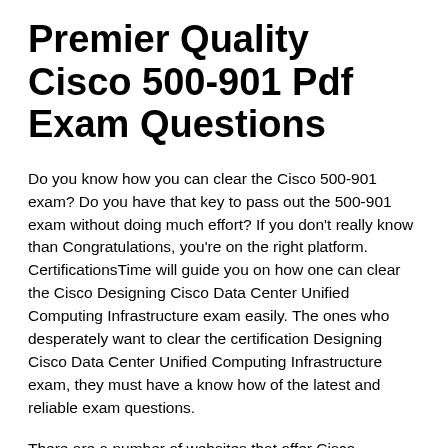Premier Quality Cisco 500-901 Pdf Exam Questions
Do you know how you can clear the Cisco 500-901 exam? Do you have that key to pass out the 500-901 exam without doing much effort? If you don't really know than Congratulations, you're on the right platform. CertificationsTime will guide you on how one can clear the Cisco Designing Cisco Data Center Unified Computing Infrastructure exam easily. The ones who desperately want to clear the certification Designing Cisco Data Center Unified Computing Infrastructure exam, they must have a know how of the latest and reliable exam questions.
There are a number of websites that offer Cisco Specialist 500-901 exam dump questions but one thing that...